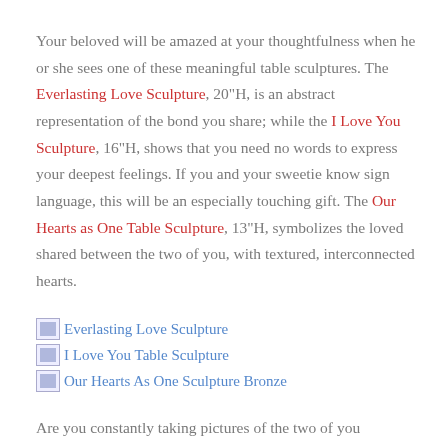Your beloved will be amazed at your thoughtfulness when he or she sees one of these meaningful table sculptures. The Everlasting Love Sculpture, 20"H, is an abstract representation of the bond you share; while the I Love You Sculpture, 16"H, shows that you need no words to express your deepest feelings. If you and your sweetie know sign language, this will be an especially touching gift. The Our Hearts as One Table Sculpture, 13"H, symbolizes the loved shared between the two of you, with textured, interconnected hearts.
[Figure (other): Broken image placeholder with text link: Everlasting Love Sculpture]
[Figure (other): Broken image placeholder with text link: I Love You Table Sculpture]
[Figure (other): Broken image placeholder with text link: Our Hearts As One Sculpture Bronze]
Are you constantly taking pictures of the two of you